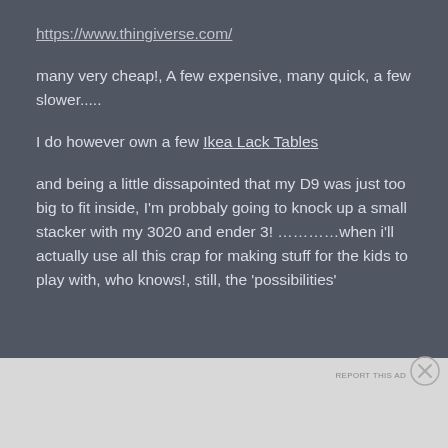https://www.thingiverse.com/
many very cheap!, A few expensive, many quick, a few slower.....
I do however own a few Ikea Lack Tables
and being a little dissapointed that my D9 was just too big to fit inside, I'm probbaly going to knock up a small stacker with my 3020 and ender 3! …………when i'll actually use all this crap for making stuff for the kids to play with, who knows!, still, the 'possibilities'